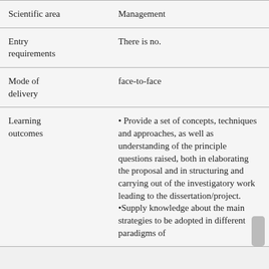| Field | Value |
| --- | --- |
| Scientific area | Management |
| Entry requirements | There is no. |
| Mode of delivery | face-to-face |
| Learning outcomes | • Provide a set of concepts, techniques and approaches, as well as understanding of the principle questions raised, both in elaborating the proposal and in structuring and carrying out of the investigatory work leading to the dissertation/project. •Supply knowledge about the main strategies to be adopted in different paradigms of |